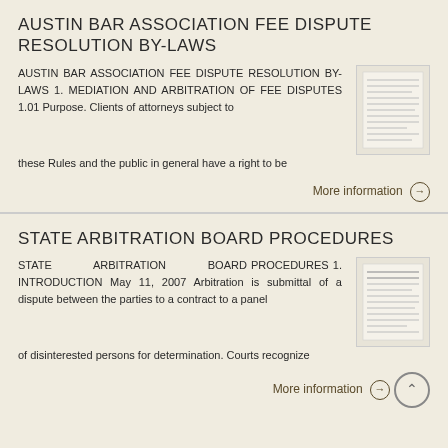AUSTIN BAR ASSOCIATION FEE DISPUTE RESOLUTION BY-LAWS
AUSTIN BAR ASSOCIATION FEE DISPUTE RESOLUTION BY-LAWS 1. MEDIATION AND ARBITRATION OF FEE DISPUTES 1.01 Purpose. Clients of attorneys subject to these Rules and the public in general have a right to be
[Figure (illustration): Thumbnail image of a document page with lines of text]
More information →
STATE ARBITRATION BOARD PROCEDURES
STATE ARBITRATION BOARD PROCEDURES 1. INTRODUCTION May 11, 2007 Arbitration is submittal of a dispute between the parties to a contract to a panel of disinterested persons for determination. Courts recognize
[Figure (illustration): Thumbnail image of a document page with lines of text]
More information →